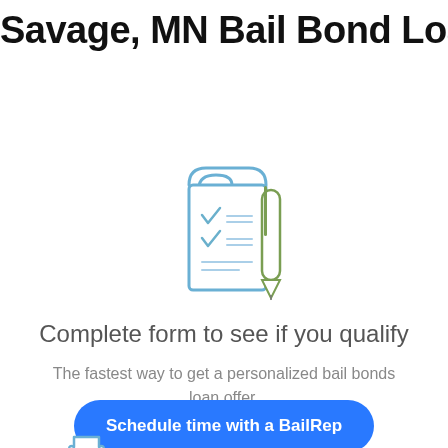Savage, MN Bail Bond Loans
[Figure (illustration): Icon of a document/form with checkmarks and a pen/pencil, drawn in blue and olive/green outline style]
Complete form to see if you qualify
The fastest way to get a personalized bail bonds loan offer.
Schedule time with a BailRep